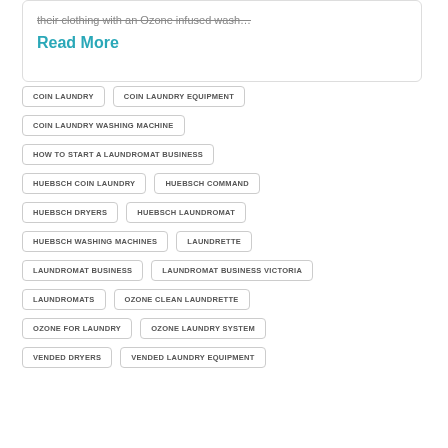their clothing with an Ozone infused wash…
Read More
COIN LAUNDRY
COIN LAUNDRY EQUIPMENT
COIN LAUNDRY WASHING MACHINE
HOW TO START A LAUNDROMAT BUSINESS
HUEBSCH COIN LAUNDRY
HUEBSCH COMMAND
HUEBSCH DRYERS
HUEBSCH LAUNDROMAT
HUEBSCH WASHING MACHINES
LAUNDRETTE
LAUNDROMAT BUSINESS
LAUNDROMAT BUSINESS VICTORIA
LAUNDROMATS
OZONE CLEAN LAUNDRETTE
OZONE FOR LAUNDRY
OZONE LAUNDRY SYSTEM
VENDED DRYERS
VENDED LAUNDRY EQUIPMENT